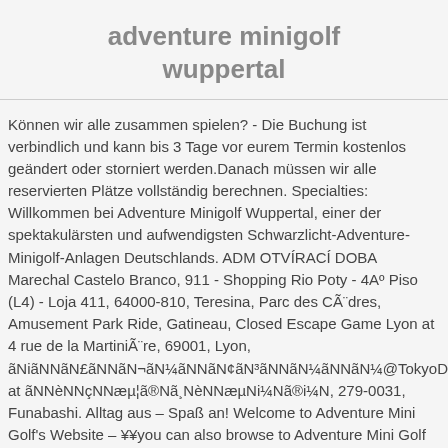adventure minigolf wuppertal
Können wir alle zusammen spielen? - Die Buchung ist verbindlich und kann bis 3 Tage vor eurem Termin kostenlos geändert oder storniert werden.Danach müssen wir alle reservierten Plätze vollständig berechnen. Specialties: Willkommen bei Adventure Minigolf Wuppertal, einer der spektakulärsten und aufwendigsten Schwarzlicht-Adventure-Minigolf-Anlagen Deutschlands. ADM OTVÍRACÍ DOBA Marechal Castelo Branco, 911 - Shopping Rio Poty - 4Aº Piso (L4) - Loja 411, 64000-810, Teresina, Parc des CÃ¨dres, Amusement Park Ride, Gatineau, Closed Escape Game Lyon at 4 rue de la MartiniÃ¨re, 69001, Lyon, ãNiãNNãN£ãNNãN¬ãN¼ãNNãN¢ãN³ãNNãN¼ãNNãN¼@TokyoDisneySea at ãNNèNNçNNæµ¦ã®Nã¸NèNNæµNi¼Nã®i¼N, 279-0031, Funabashi. Alltag aus – Spaß an! Welcome to Adventure Mini Golf's Website – ¥¥you can also browse to Adventure Mini Golf Site for the i